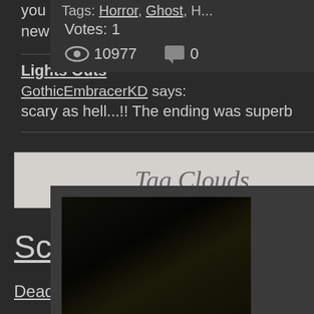you guys had a great Christmas, and have a great new
Lights Outs
GothicEmbracerKD says: scary as hell...!! The ending was superb
Tag Clouds
Scary Suicide Gothic Dead Trapped Dark Trailer Ghost Short Movie Spirit Tv Series Dark Creature Cursed Dark Creatures Dark World Monster Violence
Tags: Horror, Ghost, H... Votes: 1  10977  0
[Figure (photo): Dark thumbnail image showing leaves or foliage in very low light]
Lights Outs
Home alone at night, s... Lotta.
Tags: Scary, Ghost, Ni... Votes: 5  10703  2